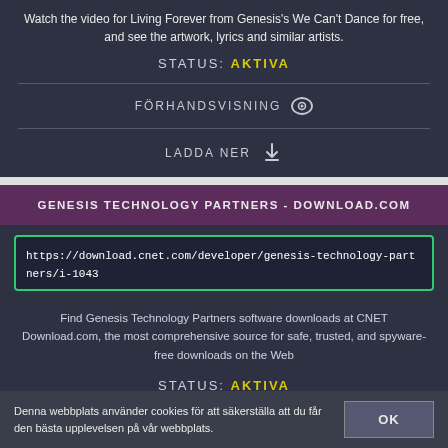Watch the video for Living Forever from Genesis's We Can't Dance for free, and see the artwork, lyrics and similar artists.
STATUS: AKTIVA
FÖRHANDSVISNING
LADDA NER
GENESIS TECHNOLOGY PARTNERS - DOWNLOAD.COM
https://download.cnet.com/developer/genesis-technology-partners/i-1043
Find Genesis Technology Partners software downloads at CNET Download.com, the most comprehensive source for safe, trusted, and spyware-free downloads on the Web
STATUS: AKTIVA
Denna webbplats använder cookies för att säkerställa att du får den bästa upplevelsen på vår webbplats.